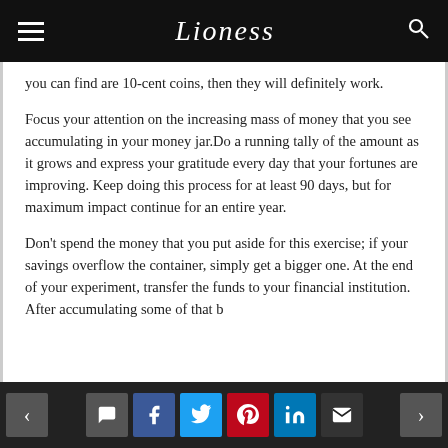Lioness
you can find are 10-cent coins, then they will definitely work.
Focus your attention on the increasing mass of money that you see accumulating in your money jar.Do a running tally of the amount as it grows and express your gratitude every day that your fortunes are improving. Keep doing this process for at least 90 days, but for maximum impact continue for an entire year.
Don't spend the money that you put aside for this exercise; if your savings overflow the container, simply get a bigger one. At the end of your experiment, transfer the funds to your financial institution. After accumulating…